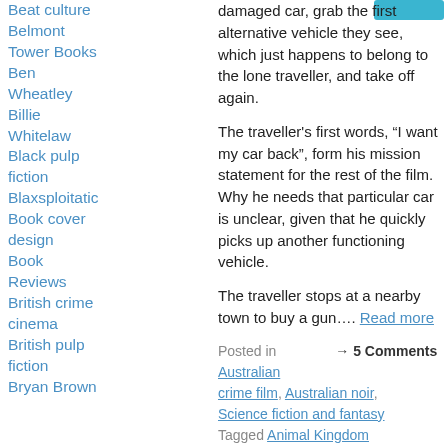Beat culture
Belmont Tower Books
Ben Wheatley
Billie Whitelaw
Black pulp fiction
Blaxsploitation
Book cover design
Book Reviews
British crime cinema
British pulp fiction
Bryan Brown
damaged car, grab the first alternative vehicle they see, which just happens to belong to the lone traveller, and take off again.
The traveller's first words, “I want my car back”, form his mission statement for the rest of the film. Why he needs that particular car is unclear, given that he quickly picks up another functioning vehicle.
The traveller stops at a nearby town to buy a gun…. Read more
Posted in → 5 Comments Australian crime film, Australian noir, Science fiction and fantasy Tagged Animal Kingdom (2010), Australian dystopian